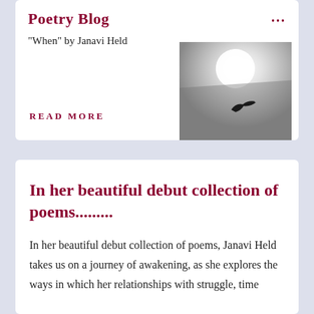Poetry Blog
"When" by Janavi Held
[Figure (photo): Black and white photo of a bird silhouetted in flight against a bright sun in a hazy grey sky, tilted slightly]
READ MORE
In her beautiful debut collection of poems..........
In her beautiful debut collection of poems, Janavi Held takes us on a journey of awakening, as she explores the ways in which her relationships with struggle, time